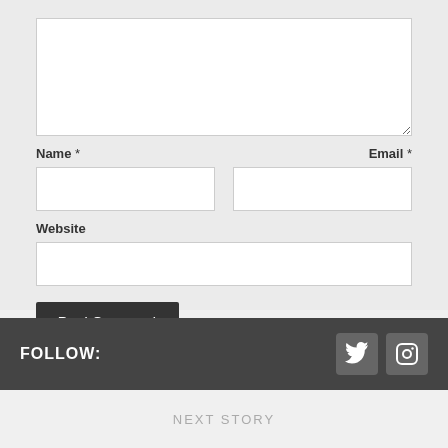[Figure (screenshot): Comment form with textarea, Name, Email, Website input fields and Post Comment button]
Name *
Email *
Website
Post Comment
FOLLOW:
NEXT STORY